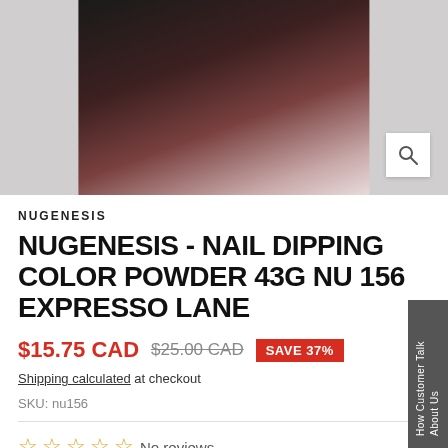[Figure (photo): Product photo showing nail dipping color powder containers with a dark brown/mocha color swatch, with a magnify icon in bottom right corner]
NUGENESIS
NUGENESIS - NAIL DIPPING COLOR POWDER 43G NU 156 EXPRESSO LANE
$15.75 CAD  $25.00 CAD  SAVE 37%
Shipping calculated at checkout
SKU: nu156
☆ ☆ ☆ ☆ ☆ No reviews
Quantity: